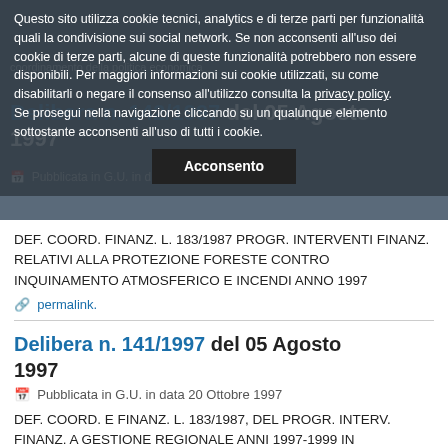Questo sito utilizza cookie tecnici, analytics e di terze parti per funzionalità quali la condivisione sui social network. Se non acconsenti all'uso dei cookie di terze parti, alcune di queste funzionalità potrebbero non essere disponibili. Per maggiori informazioni sui cookie utilizzati, su come disabilitarli o negare il consenso all'utilizzo consulta la privacy policy.
Se prosegui nella navigazione cliccando su un qualunque elemento sottostante acconsenti all'uso di tutti i cookie.
Acconsento
Delibera n. 142/1997 del 05 Agosto 1997
Pubblicata in G.U. in data ... e 1997
DEF. COORD. FINANZ. L. 183/1987 PROGR. INTERVENTI FINANZ. RELATIVI ALLA PROTEZIONE FORESTE CONTRO INQUINAMENTO ATMOSFERICO E INCENDI ANNO 1997
permalink.
Delibera n. 141/1997 del 05 Agosto 1997
Pubblicata in G.U. in data 20 Ottobre 1997
DEF. COORD. E FINANZ. L. 183/1987, DEL PROGR. INTERV. FINANZ. A GESTIONE REGIONALE ANNI 1997-1999 IN